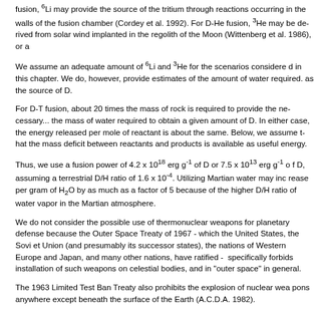fusion, 6Li may provide the source of the tritium through reactions occurring in the walls of the fusion chamber (Cordey et al. 1992). For D-He fusion, 3He may be derived from solar wind implanted in the regolith of the Moon (Wittenberg et al. 1986), or a...
We assume an adequate amount of 6Li and 3He for the scenarios considered in this chapter. We do, however, provide estimates of the amount of water required... as the source of D.
For D-T fusion, about 20 times the mass of rock is required to provide the necessary... the mass of water required to obtain a given amount of D. In either case, the energy released per mole of reactant is about the same. Below, we assume that the mass deficit between reactants and products is available as useful energy.
Thus, we use a fusion power of 4.2 x 10^18 erg g^-1 of D or 7.5 x 10^13 erg g^-1... assuming a terrestrial D/H ratio of 1.6 x 10^-4. Utilizing Martian water may increase per gram of H2O by as much as a factor of 5 because of the higher D/H ratio of water vapor in the Martian atmosphere.
We do not consider the possible use of thermonuclear weapons for planetary... because the Outer Space Treaty of 1967 - which the United States, the Soviet Union (and presumably its successor states), the nations of Western Europe and Japan, and many other nations, have ratified - specifically forbids installation of such weapons on celestial bodies, and in "outer space" in general.
The 1963 Limited Test Ban Treaty also prohibits the explosion of nuclear weapons anywhere except beneath the surface of the Earth (A.C.D.A. 1982).
It seems possible (Sagan 1986) that between increasing the abundance of...